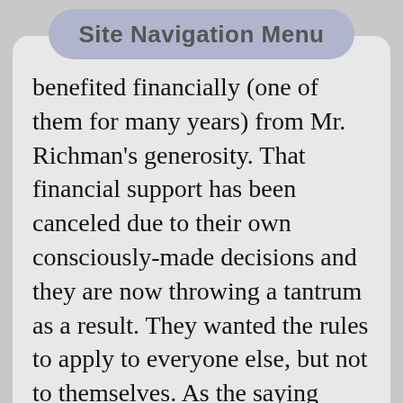Site Navigation Menu
benefited financially (one of them for many years) from Mr. Richman's generosity. That financial support has been canceled due to their own consciously-made decisions and they are now throwing a tantrum as a result. They wanted the rules to apply to everyone else, but not to themselves. As the saying goes “God does not reward bad behavior”. Whenever any of us points one